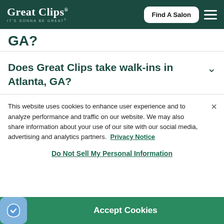[Figure (logo): Great Clips logo with tagline IT'S GONNA BE GREAT in white on dark green header, with Find A Salon button and hamburger menu]
GA?
Does Great Clips take walk-ins in Atlanta, GA?
This website uses cookies to enhance user experience and to analyze performance and traffic on our website. We may also share information about your use of our site with our social media, advertising and analytics partners. Privacy Notice
Do Not Sell My Personal Information
Accept Cookies